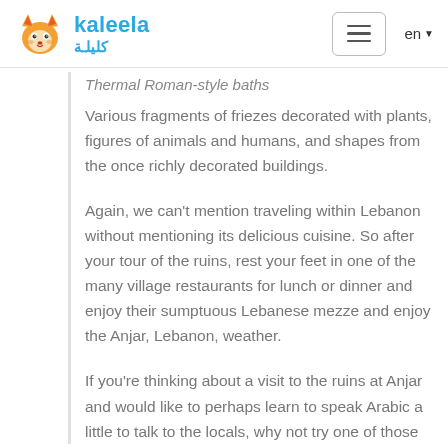kaleela كليلة
Thermal Roman-style baths
Various fragments of friezes decorated with plants, figures of animals and humans,  and shapes from the once richly decorated buildings.
Again, we can't mention traveling within Lebanon without mentioning its delicious cuisine. So after your tour of the ruins, rest your feet in one of the many village restaurants for lunch or dinner and enjoy their sumptuous Lebanese mezze and enjoy the Anjar, Lebanon, weather.
If you're thinking about a visit to the ruins at Anjar and would like to perhaps learn to speak Arabic a little to talk to the locals, why not try one of those